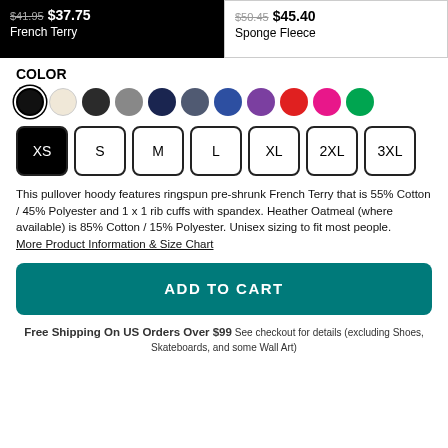$41.95 $37.75 French Terry
$50.45 $45.40 Sponge Fleece
COLOR
[Figure (other): Color swatches: black (selected), oatmeal, dark charcoal, gray, navy, slate, royal blue, purple, red, pink, green]
[Figure (other): Size buttons: XS (selected/filled black), S, M, L, XL, 2XL, 3XL]
This pullover hoody features ringspun pre-shrunk French Terry that is 55% Cotton / 45% Polyester and 1 x 1 rib cuffs with spandex. Heather Oatmeal (where available) is 85% Cotton / 15% Polyester. Unisex sizing to fit most people.
More Product Information & Size Chart
ADD TO CART
Free Shipping On US Orders Over $99 See checkout for details (excluding Shoes, Skateboards, and some Wall Art)